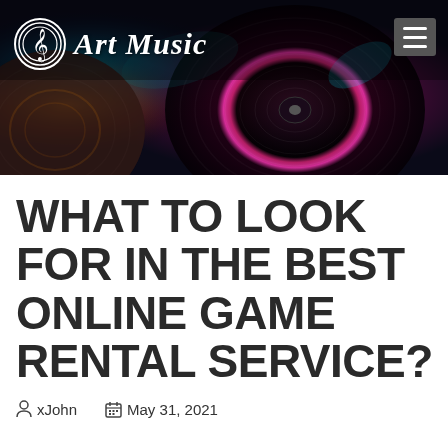[Figure (screenshot): Art Music website header banner with vinyl record background and cursive Art Music logo with treble clef icon; hamburger menu button top right]
WHAT TO LOOK FOR IN THE BEST ONLINE GAME RENTAL SERVICE?
xJohn   May 31, 2021